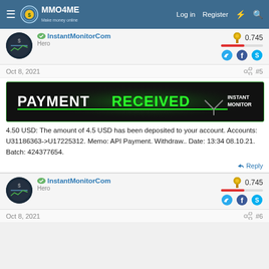MMO4ME - Make money online | Log in | Register
InstantMonitorCom | Hero | 0.745
Oct 8, 2021 | #5
[Figure (screenshot): Payment Received banner with Instant Monitor logo on dark green/black background]
4.50 USD: The amount of 4.5 USD has been deposited to your account. Accounts: U31186363->U17225312. Memo: API Payment. Withdraw.. Date: 13:34 08.10.21. Batch: 424377654.
Reply
InstantMonitorCom | Hero | 0.745
Oct 8, 2021 | #6